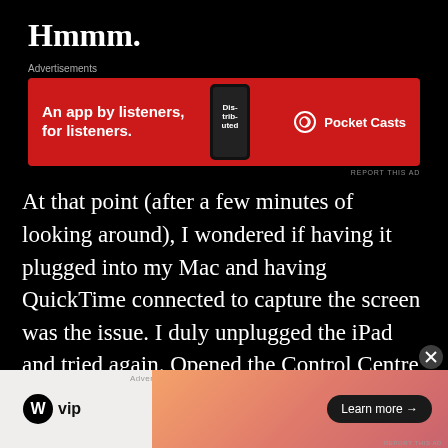Hmmm.
[Figure (screenshot): Pocket Casts advertisement banner: red background with text 'An app by listeners, for listeners.' and Pocket Casts logo, phone image showing 'Distributed' text]
At that point (after a few minutes of looking around), I wondered if having it plugged into my Mac and having QuickTime connected to capture the screen was the issue. I duly unplugged the iPad and tried again. Opened the Control Centre, tapped the Screen Recording button, 3 2 1 – bam! red
[Figure (screenshot): WordPress VIP advertisement banner at bottom of page with gradient orange/pink background and 'Learn more →' button]